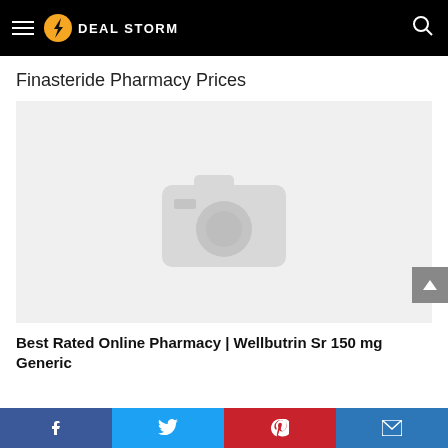DEAL STORM
Finasteride Pharmacy Prices
[Figure (photo): Image placeholder with camera icon on light grey background]
Best Rated Online Pharmacy | Wellbutrin Sr 150 mg Generic